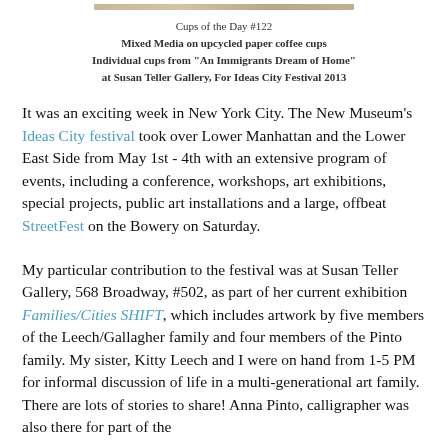[Figure (photo): Top partial strip image of mixed media on paper coffee cups]
Cups of the Day #122
Mixed Media on upcycled paper coffee cups
Individual cups from "An Immigrants Dream of Home"
at Susan Teller Gallery, For Ideas City Festival 2013
It was an exciting week in New York City. The New Museum's Ideas City festival took over Lower Manhattan and the Lower East Side from May 1st - 4th with an extensive program of events, including a conference, workshops, art exhibitions, special projects, public art installations and a large, offbeat StreetFest on the Bowery on Saturday.
My particular contribution to the festival was at Susan Teller Gallery, 568 Broadway, #502, as part of her current exhibition Families/Cities SHIFT, which includes artwork by five members of the Leech/Gallagher family and four members of the Pinto family. My sister, Kitty Leech and I were on hand from 1-5 PM for informal discussion of life in a multi-generational art family. There are lots of stories to share! Anna Pinto, calligrapher was also there for part of the